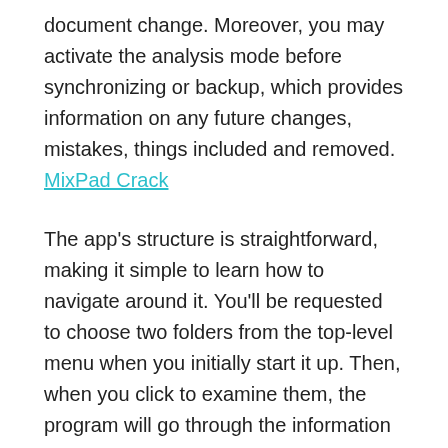document change. Moreover, you may activate the analysis mode before synchronizing or backup, which provides information on any future changes, mistakes, things included and removed. MixPad Crack
The app's structure is straightforward, making it simple to learn how to navigate around it. You'll be requested to choose two folders from the top-level menu when you initially start it up. Then, when you click to examine them, the program will go through the information you supplied, searching for any file changes. GoodSync Crack Latest Version is so that you don't lose any of its data when you back up a file to a disc. For example, if new updates to the